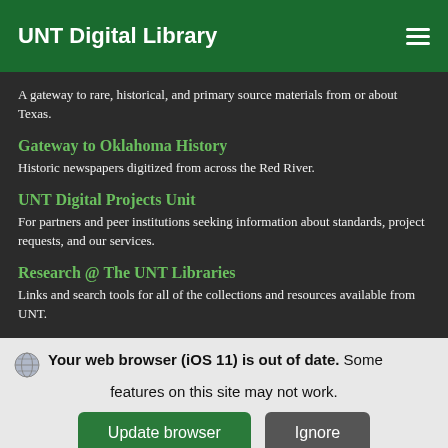UNT Digital Library
A gateway to rare, historical, and primary source materials from or about Texas.
Gateway to Oklahoma History
Historic newspapers digitized from across the Red River.
UNT Digital Projects Unit
For partners and peer institutions seeking information about standards, project requests, and our services.
Research @ The UNT Libraries
Links and search tools for all of the collections and resources available from UNT.
Get Updates in Your Inbox
Your web browser (iOS 11) is out of date. Some features on this site may not work.